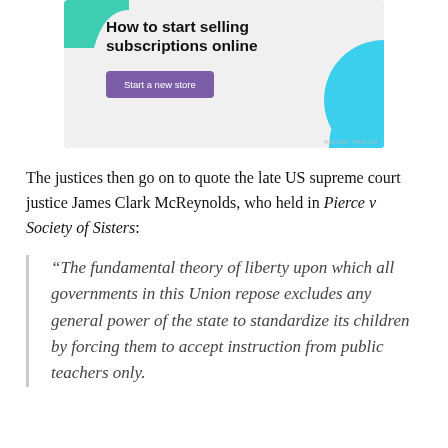[Figure (other): Advertisement banner with headline 'How to start selling subscriptions online' and a purple 'Start a new store' button, with teal and blue decorative shapes]
The justices then go on to quote the late US supreme court justice James Clark McReynolds, who held in Pierce v Society of Sisters:
“The fundamental theory of liberty upon which all governments in this Union repose excludes any general power of the state to standardize its children by forcing them to accept instruction from public teachers only.